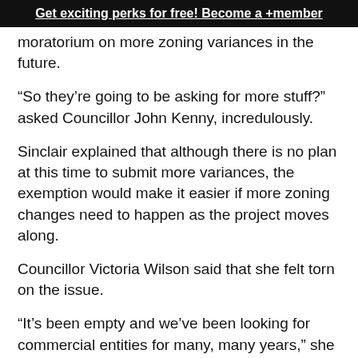Get exciting perks for free! Become a +member
moratorium on more zoning variances in the future.
“So they’re going to be asking for more stuff?” asked Councillor John Kenny, incredulously.
Sinclair explained that although there is no plan at this time to submit more variances, the exemption would make it easier if more zoning changes need to happen as the project moves along.
Councillor Victoria Wilson said that she felt torn on the issue.
“It’s been empty and we’ve been looking for commercial entities for many, many years,” she said. “Since I’ve been in Thorold, what I’ve heard is people hoping that some type of big box store be there. This might be our best option to get commercial there. It